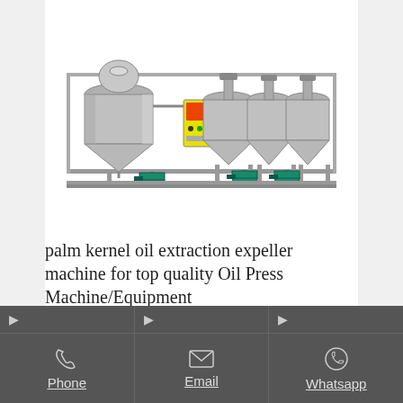[Figure (photo): Industrial oil extraction machine with multiple conical tanks and pumps mounted on a steel frame]
palm kernel oil extraction expeller machine for top quality Oil Press Machine/Equipment
Phone | Email | Whatsapp